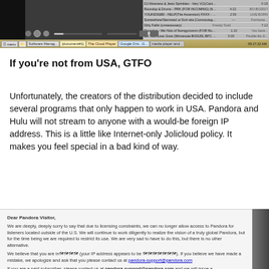[Figure (screenshot): Screenshot showing a media player application with a track list on the right side and a taskbar at the bottom with multiple open applications including Software Manager, The Cloud Player, Google Drive, and other items.]
If you're not from USA, GTFO
Unfortunately, the creators of the distribution decided to include several programs that only happen to work in USA. Pandora and Hulu will not stream to anyone with a would-be foreign IP address. This is a little like Internet-only Jolicloud policy. It makes you feel special in a bad kind of way.
[Figure (screenshot): Screenshot of a Pandora Visitor error message stating that due to licensing constraints, Pandora can no longer allow access for listeners outside the US. The letter includes text about contacting pandora-support@pandora.com and mentions paid subscribers.]